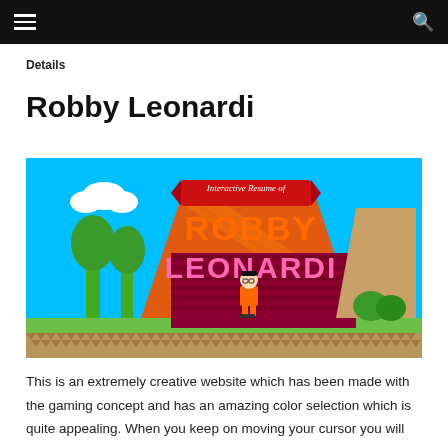Details
Robby Leonardi
[Figure (screenshot): A screenshot of the Robby Leonardi interactive resume website styled as a side-scrolling video game. The image shows a colorful game scene with clouds, trees, buildings, and a character, with text 'Interactive Resume of ROBBY LEONARDI' displayed prominently.]
This is an extremely creative website which has been made with the gaming concept and has an amazing color selection which is quite appealing. When you keep on moving your cursor you will